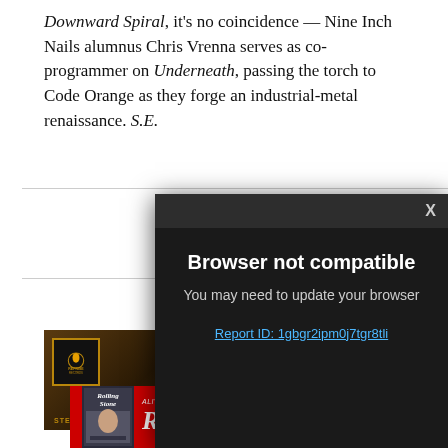Downward Spiral, it's no coincidence — Nine Inch Nails alumnus Chris Vrenna serves as co-programmer on Underneath, passing the torch to Code Orange as they forge an industrial-metal renaissance. S.E.
[Figure (screenshot): Browser modal dialog with dark background reading 'Browser not compatible. You may need to update your browser. Report ID: 1gbgr2ipm0j7tgr8tli']
[Figure (photo): Partial view of a vinyl record album with Reprise Records label, gold border, showing STEREO text at bottom]
[Figure (logo): Rolling Stone magazine advertisement banner in red with RollingStone logo in white italic text and magazine cover thumbnail]